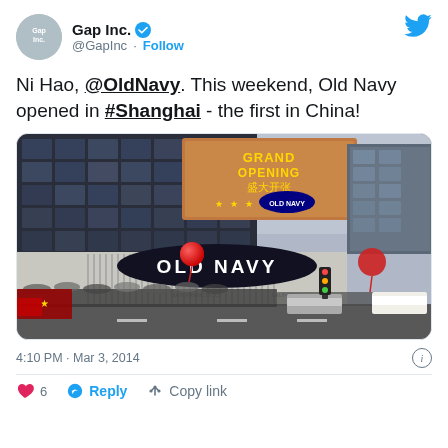Gap Inc. @GapInc · Follow
Ni Hao, @OldNavy. This weekend, Old Navy opened in #Shanghai - the first in China!
[Figure (photo): Old Navy store grand opening in Shanghai, China, showing a large curved building facade with an LED billboard reading 'GRAND OPENING' and Chinese characters, a large Old Navy sign below, red balloons, and a crowd of people on the street.]
4:10 PM · Mar 3, 2014
❤ 6   Reply   Copy link